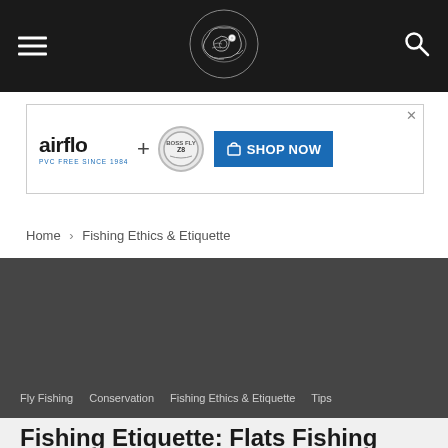Navigation bar with hamburger menu, logo, and search icon
[Figure (logo): Circular fish/snake head logo in white on black background]
[Figure (infographic): airflo + [badge] SHOP NOW advertisement banner]
Home › Fishing Ethics & Etiquette
Fly Fishing   Conservation   Fishing Ethics & Etiquette   Tips
Fishing Etiquette: Flats Fishing